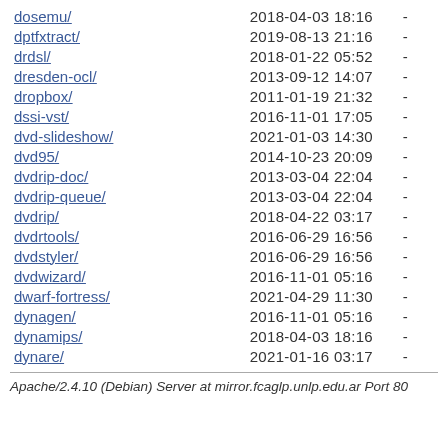| Name | Date | Size |
| --- | --- | --- |
| dosemu/ | 2018-04-03 18:16 | - |
| dptfxtract/ | 2019-08-13 21:16 | - |
| drdsl/ | 2018-01-22 05:52 | - |
| dresden-ocl/ | 2013-09-12 14:07 | - |
| dropbox/ | 2011-01-19 21:32 | - |
| dssi-vst/ | 2016-11-01 17:05 | - |
| dvd-slideshow/ | 2021-01-03 14:30 | - |
| dvd95/ | 2014-10-23 20:09 | - |
| dvdrip-doc/ | 2013-03-04 22:04 | - |
| dvdrip-queue/ | 2013-03-04 22:04 | - |
| dvdrip/ | 2018-04-22 03:17 | - |
| dvdrtools/ | 2016-06-29 16:56 | - |
| dvdstyler/ | 2016-06-29 16:56 | - |
| dvdwizard/ | 2016-11-01 05:16 | - |
| dwarf-fortress/ | 2021-04-29 11:30 | - |
| dynagen/ | 2016-11-01 05:16 | - |
| dynamips/ | 2018-04-03 18:16 | - |
| dynare/ | 2021-01-16 03:17 | - |
Apache/2.4.10 (Debian) Server at mirror.fcaglp.unlp.edu.ar Port 80